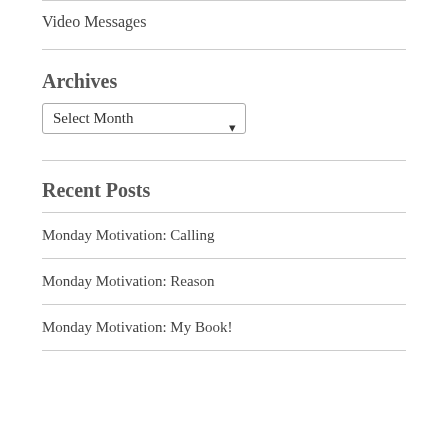Video Messages
Archives
Select Month
Recent Posts
Monday Motivation: Calling
Monday Motivation: Reason
Monday Motivation: My Book!